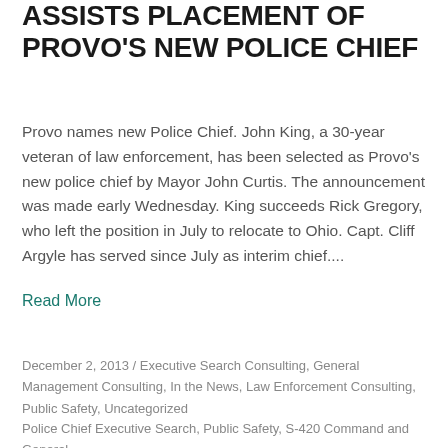ASSISTS PLACEMENT OF PROVO'S NEW POLICE CHIEF
Provo names new Police Chief. John King, a 30-year veteran of law enforcement, has been selected as Provo's new police chief by Mayor John Curtis. The announcement was made early Wednesday. King succeeds Rick Gregory, who left the position in July to relocate to Ohio. Capt. Cliff Argyle has served since July as interim chief....
Read More
December 2, 2013 / Executive Search Consulting, General Management Consulting, In the News, Law Enforcement Consulting, Public Safety, Uncategorized
Police Chief Executive Search, Public Safety, S-420 Command and General